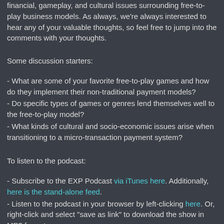financial, gameplay, and cultural issues surrounding free-to-play business models. As always, we're always interested to hear any of your valuable thoughts, so feel free to jump into the comments with your thoughts.
Some discussion starters:
- What are some of your favorite free-to-play games and how do they implement their non-traditional payment models?
- Do specific types of games or genres lend themselves well to the free-to-play model?
- What kinds of cultural and socio-economic issues arise when transitioning to a micro-transaction payment system?
To listen to the podcast:
- Subscribe to the EXP Podcast via iTunes here. Additionally, here is the stand-alone feed.
- Listen to the podcast in your browser by left-clicking here. Or, right-click and select "save as link" to download the show in MP3 format.
- Subscribe to this podcast and EXP's written content with